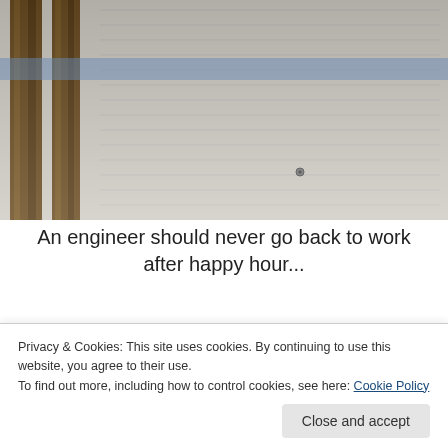[Figure (photo): A photograph showing wooden beams or posts with what appears to be book pages or paper in the background — a scene suggesting engineering notebooks or blueprints.]
An engineer should never go back to work after happy hour...
[Figure (screenshot): A promotional app screenshot showing a journal app interface with 'Your Journal for life' text on a blue background alongside phone screenshots showing calendar and photos.]
Privacy & Cookies: This site uses cookies. By continuing to use this website, you agree to their use.
To find out more, including how to control cookies, see here: Cookie Policy
Close and accept